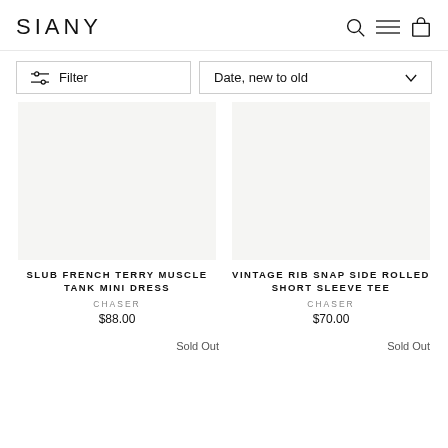SIANY
Filter
Date, new to old
SLUB FRENCH TERRY MUSCLE TANK MINI DRESS
CHASER
$88.00
VINTAGE RIB SNAP SIDE ROLLED SHORT SLEEVE TEE
CHASER
$70.00
Sold Out
Sold Out